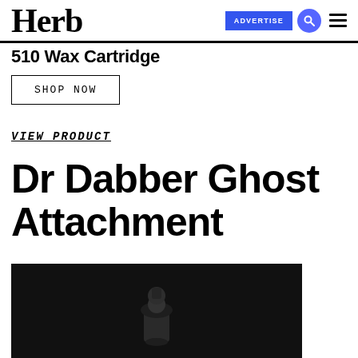Herb
510 Wax Cartridge
SHOP NOW
VIEW PRODUCT
Dr Dabber Ghost Attachment
[Figure (photo): Dark product photo showing a small black cylindrical attachment on a black background]